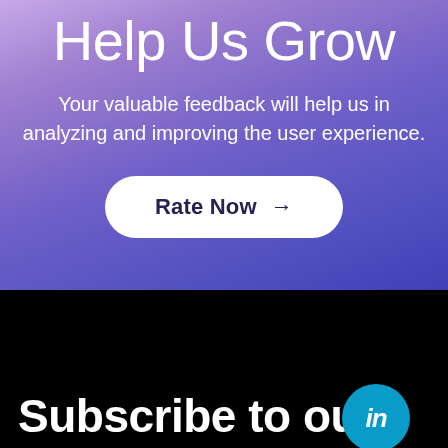Help Us Grow
Your valuable feedback will help us in analyzing and improving the user experience.
[Figure (other): White pill-shaped button with dark text 'Rate Now' and right arrow]
[Figure (logo): LinkedIn circular blue icon with 'in' text]
Subscribe to our